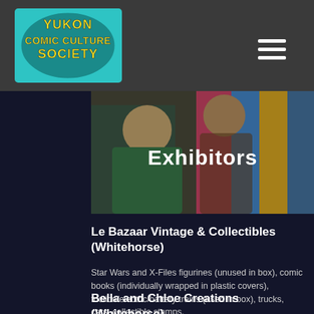[Figure (logo): Yukon Comic Culture Society logo - circular emblem with teal/cyan background and yellow text]
[Figure (photo): People browsing colorful merchandise at an exhibitor booth, with the word 'Exhibitors' overlaid in bold white text]
Le Bazaar Vintage & Collectibles (Whitehorse)
Star Wars and X-Files figurines (unused in box), comic books (individually wrapped in plastic covers), friction/electric/battery trains (used in box), trucks, cars, collectible stamps.
Bella and Chloe Creations (Whitehorse)